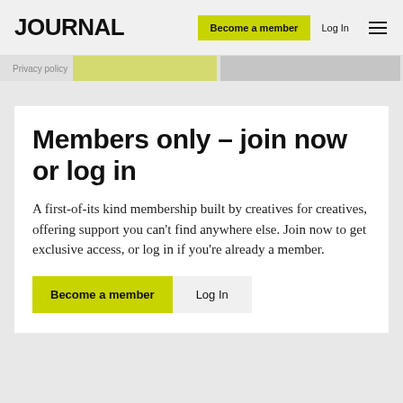JOURNAL | Become a member | Log In
Privacy policy
Members only – join now or log in
A first-of-its kind membership built by creatives for creatives, offering support you can't find anywhere else. Join now to get exclusive access, or log in if you're already a member.
Become a member | Log In